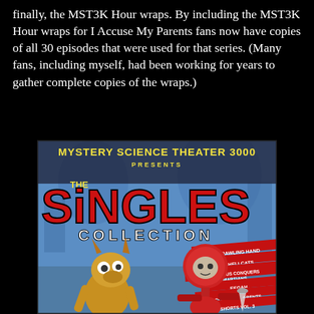finally, the MST3K Hour wraps. By including the MST3K Hour wraps for I Accuse My Parents fans now have copies of all 30 episodes that were used for that series. (Many fans, including myself, had been working for years to gather complete copies of the wraps.)
[Figure (illustration): DVD cover for Mystery Science Theater 3000 Presents The Singles Collection. Features cartoon robot characters (Tom Servo and Crow T. Robot) on a blue illustrated background. Yellow and red title text. Red banners on right side list episode titles: The Crawling Hand, The Hellcats, Santa Claus Conquers the Martians, Eegah, I Accuse My Parents, Shorts Vol. 3.]